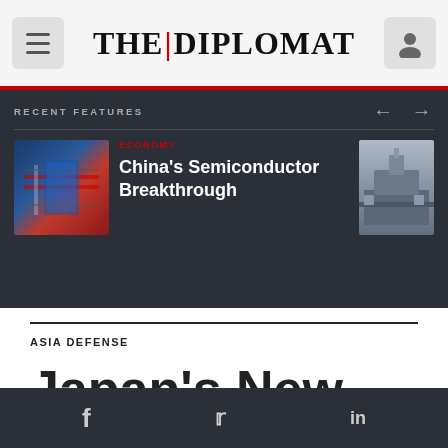THE | DIPLOMAT
RECENT FEATURES
[Figure (photo): Thumbnail image of a semiconductor chip with Chinese flag overlay]
ECONOMY
China's Semiconductor Breakthrough
[Figure (photo): Thumbnail image of a naval warship at sea]
ASIA DEFENSE
Japan's New
f  twitter  in